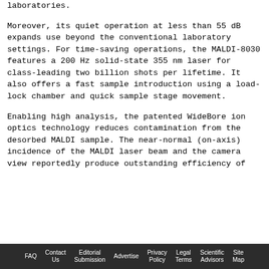laboratories.
Moreover, its quiet operation at less than 55 dB expands use beyond the conventional laboratory settings. For time-saving operations, the MALDI-8030 features a 200 Hz solid-state 355 nm laser for class-leading two billion shots per lifetime. It also offers a fast sample introduction using a load-lock chamber and quick sample stage movement.
Enabling high analysis, the patented WideBore ion optics technology reduces contamination from the desorbed MALDI sample. The near-normal (on-axis) incidence of the MALDI laser beam and the camera view reportedly produce outstanding efficiency of
FAQ  Contact Us  Editorial Submission  Advertise  Privacy Policy  Legal Terms  Scientific Advisors  Site Map